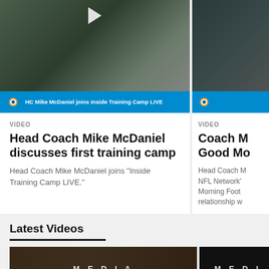[Figure (screenshot): Video thumbnail showing people seated outdoors at training camp with Miami Dolphins teal overlay bar reading 'HC Mike McDaniel joins Inside Training Camp LIVE']
VIDEO
Head Coach Mike McDaniel discusses first training camp
Head Coach Mike McDaniel joins "Inside Training Camp LIVE."
[Figure (screenshot): Partial video thumbnail of coach in suit with Miami Dolphins logo]
VIDEO
Coach M Good Mo
Head Coach M NFL Network' Morning Foot relationship w
Latest Videos
[Figure (screenshot): Dark video thumbnail with MEDIA text overlay]
[Figure (screenshot): Partial dark video thumbnail with MEDI text overlay]